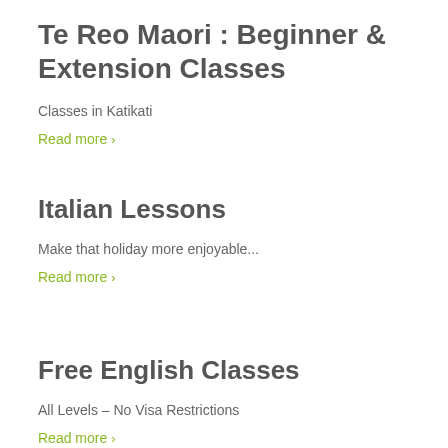Te Reo Maori : Beginner & Extension Classes
Classes in Katikati
Read more >
Italian Lessons
Make that holiday more enjoyable...
Read more >
Free English Classes
All Levels – No Visa Restrictions
Read more >